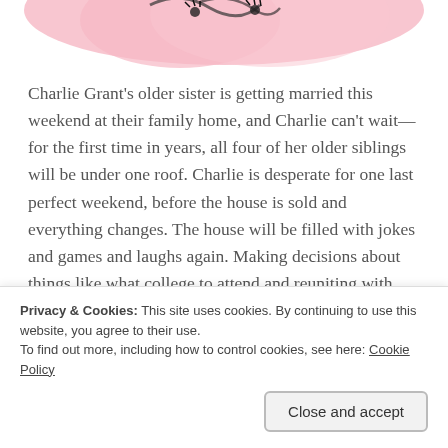[Figure (illustration): Top portion of a book cover with pink illustrated artwork showing a stylized face or floral design with dark accents, partially cropped]
Charlie Grant's older sister is getting married this weekend at their family home, and Charlie can't wait—for the first time in years, all four of her older siblings will be under one roof. Charlie is desperate for one last perfect weekend, before the house is sold and everything changes. The house will be filled with jokes and games and laughs again. Making decisions about things like what college to attend and reuniting with longstanding crush Jesse Foster—all
Privacy & Cookies: This site uses cookies. By continuing to use this website, you agree to their use.
To find out more, including how to control cookies, see here: Cookie Policy
Close and accept